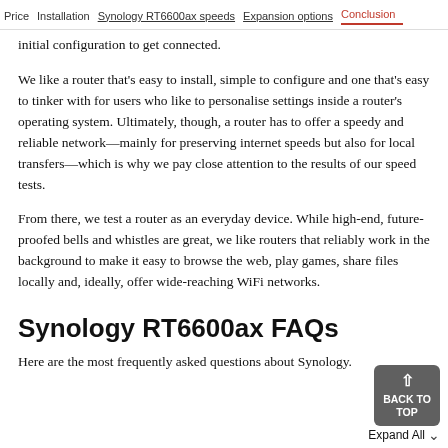Price   Installation   Synology RT6600ax speeds   Expansion options   Conclusion
initial configuration to get connected.
We like a router that's easy to install, simple to configure and one that's easy to tinker with for users who like to personalise settings inside a router's operating system. Ultimately, though, a router has to offer a speedy and reliable network—mainly for preserving internet speeds but also for local transfers—which is why we pay close attention to the results of our speed tests.
From there, we test a router as an everyday device. While high-end, future-proofed bells and whistles are great, we like routers that reliably work in the background to make it easy to browse the web, play games, share files locally and, ideally, offer wide-reaching WiFi networks.
Synology RT6600ax FAQs
Here are the most frequently asked questions about Synology.